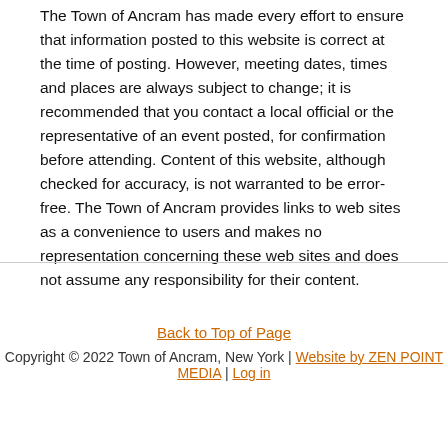The Town of Ancram has made every effort to ensure that information posted to this website is correct at the time of posting. However, meeting dates, times and places are always subject to change; it is recommended that you contact a local official or the representative of an event posted, for confirmation before attending. Content of this website, although checked for accuracy, is not warranted to be error-free. The Town of Ancram provides links to web sites as a convenience to users and makes no representation concerning these web sites and does not assume any responsibility for their content.
Back to Top of Page
Copyright © 2022 Town of Ancram, New York | Website by ZEN POINT MEDIA | Log in